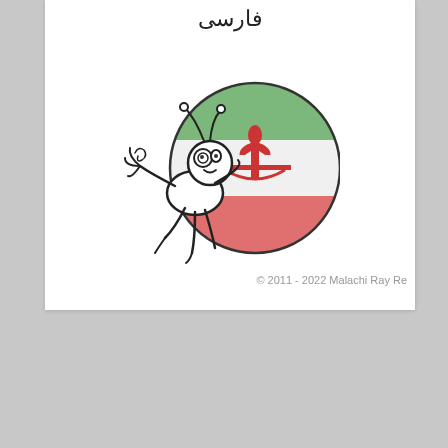فارسی
[Figure (illustration): A cartoon bug/insect character overlapping a circular badge showing the Iranian flag (green, white, red with emblem). Above the circle is Persian text 'فارسی'. The bug character is drawn in a whimsical cartoon style in black and white outline.]
© 2011 - 2022 Malachi Ray Re